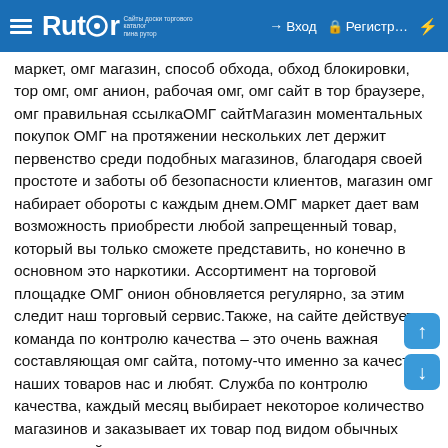Rutor — Вход — Регистр...
маркет, омг магазин, способ обхода, обход блокировки, тор омг, омг анион, рабочая омг, омг сайт в тор браузере, омг правильная ссылкаОМГ сайтМагазин моментальных покупок ОМГ на протяжении нескольких лет держит первенство среди подобных магазинов, благодаря своей простоте и заботы об безопасности клиентов, магазин омг набирает обороты с каждым днем.ОМГ маркет дает вам возможность приобрести любой запрещенный товар, который вы только сможете представить, но конечно в основном это наркотики. Ассортимент на торговой площадке ОМГ онион обновляется регулярно, за этим следит наш торговый сервис.Также, на сайте действует команда по контролю качества – это очень важная составляющая омг сайта, потому-что именно за качество наших товаров нас и любят. Служба по контролю качества, каждый месяц выбирает некоторое количество магазинов и заказывает их товар под видом обычных покупателей, затем делают его оценку, экспертизу в хим. лабораториях и выдвигают окончательный вердикт. Сравнивается качество указанное в описание и